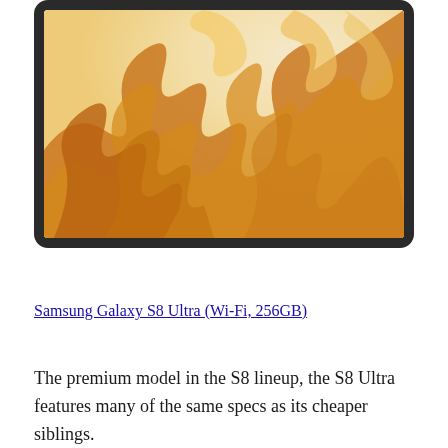[Figure (photo): A Samsung Galaxy Tab S8 Ultra tablet showing its screen with a flowing golden/amber abstract fluid art wallpaper on a cream/beige background. The tablet has a thin black frame/bezel.]
Samsung Galaxy S8 Ultra (Wi-Fi, 256GB)
The premium model in the S8 lineup, the S8 Ultra features many of the same specs as its cheaper siblings.